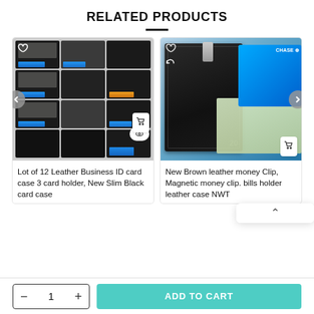RELATED PRODUCTS
[Figure (photo): Product 1: Grid of 12 leather business ID card cases, slim black card cases with blue cards visible]
Lot of 12 Leather Business ID card case 3 card holder, New Slim Black card case
[Figure (photo): Product 2: Brown/black leather money clip wallet with Chase credit card and dollar bill visible]
New Brown leather money Clip, Magnetic money clip. bills holder leather case NWT
- 1 +
ADD TO CART